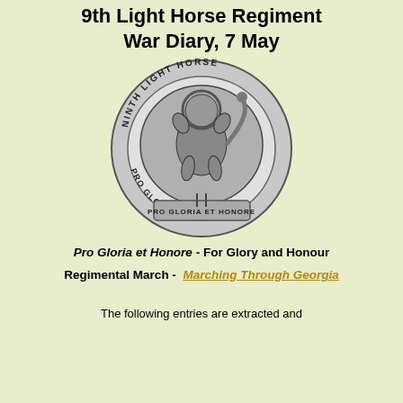9th Light Horse Regiment War Diary, 7 May
[Figure (illustration): Circular regimental badge of the 9th Light Horse Regiment showing a rampant lion in the centre, surrounded by a ring bearing the text 'NINTH LIGHT HORSE', with a scroll below reading 'PRO GLORIA ET HONORE'. The badge is rendered in black and white/silver metallic tones.]
Pro Gloria et Honore - For Glory and Honour
Regimental March -  Marching Through Georgia
The following entries are extracted and